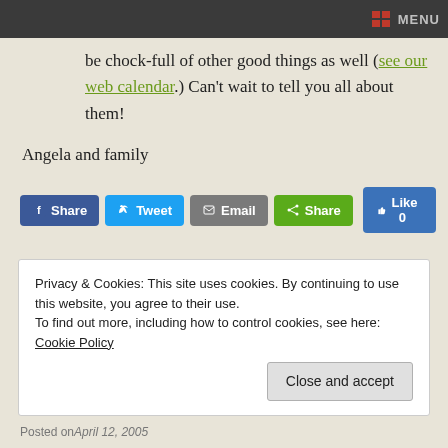MENU
be chock-full of other good things as well (see our web calendar.) Can't wait to tell you all about them!
Angela and family
[Figure (screenshot): Social share buttons: Facebook Share, Tweet, Email, Share, Like 0]
Privacy & Cookies: This site uses cookies. By continuing to use this website, you agree to their use.
To find out more, including how to control cookies, see here: Cookie Policy
Close and accept
Posted on April 12, 2005